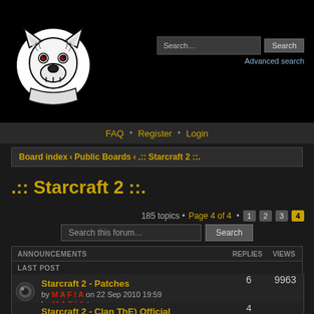[Figure (logo): Clan logo: white circle with black bulldog/wolf head illustration with red eyes]
Search... [input] Search
Advanced search
FAQ • Register • Login
Board index ‹ Public Boards ‹ .:: Starcraft 2 ::.
.:: Starcraft 2 ::.
185 topics • Page 4 of 4 • 1 2 3 4
Search this forum… [Search]
| ANNOUNCEMENTS | REPLIES | VIEWS |
| --- | --- | --- |
| LAST POST |  |  |
| Starcraft 2 - Patches
by MAFIA on 22 Sep 2010 19:59
by MAFIA > on 09 Nov 2011 13:40 | 6 | 9963 |
| Starcraft 2 - Clan ThE) Official | 4 | 9738 |